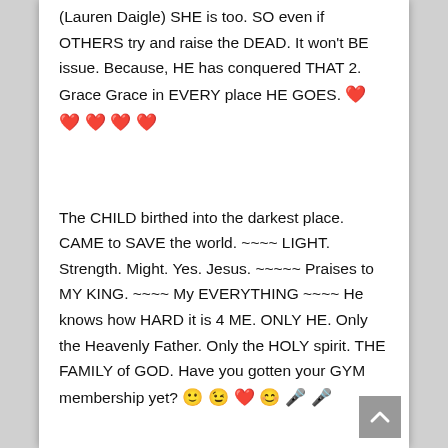(Lauren Daigle) SHE is too. SO even if OTHERS try and raise the DEAD. It won't BE issue. Because, HE has conquered THAT 2. Grace Grace in EVERY place HE GOES. ❤️ ❤️ ❤️ ❤️ ❤️
The CHILD birthed into the darkest place. CAME to SAVE the world. ~~~~ LIGHT. Strength. Might. Yes. Jesus. ~~~~~ Praises to MY KING. ~~~~ My EVERYTHING ~~~~ He knows how HARD it is 4 ME. ONLY HE. Only the Heavenly Father. Only the HOLY spirit. THE FAMILY of GOD. Have you gotten your GYM membership yet? 🙂 😉 ❤️ 😊 🎤 🎤
BEST choice EVER #9 ~~~~